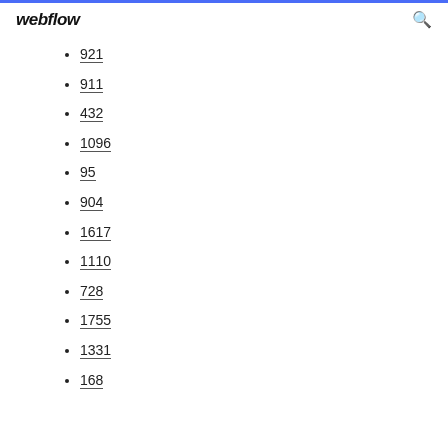webflow
921
911
432
1096
95
904
1617
1110
728
1755
1331
168